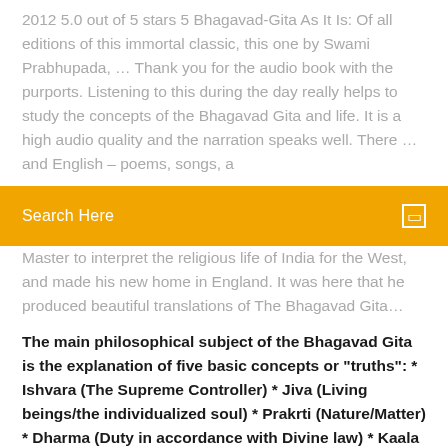2012 5.0 out of 5 stars 5 Bhagavad-Gita As It Is: Of all editions of this immortal classic, this one by Swami Prabhupada, … Thank you for the audio book with the purports. Listening to this during the day really helps to study the concepts of the Bhagavad Gita and life. It is a high audio quality and the narration speaks well. There … and English – poems, songs, a
[Figure (other): Orange search bar with text 'Search Here' and a small icon on the right]
Master to interpret the religious life of India for the West, and made his new home in England. It was here that he produced beautiful translations of The Bhagavad Gita…
The main philosophical subject of the Bhagavad Gita is the explanation of five basic concepts or "truths": * Ishvara (The Supreme Controller) * Jiva (Living beings/the individualized soul) * Prakrti (Nature/Matter) * Dharma (Duty in accordance with Divine law) * Kaala (Time) You can: * Read śloka in Hindi and English. * Hear Audio …